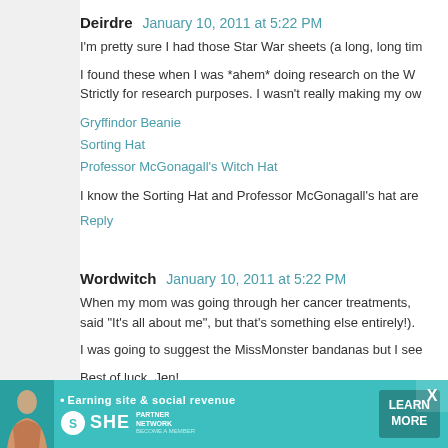Deirdre  January 10, 2011 at 5:22 PM
I'm pretty sure I had those Star War sheets (a long, long tim
I found these when I was *ahem* doing research on the W Strictly for research purposes. I wasn't really making my ow
Gryffindor Beanie
Sorting Hat
Professor McGonagall's Witch Hat
I know the Sorting Hat and Professor McGonagall's hat are
Reply
Wordwitch  January 10, 2011 at 5:22 PM
When my mom was going through her cancer treatments, said "It's all about me", but that's something else entirely!).
I was going to suggest the MissMonster bandanas but I see
Best of luck, Jen!
Reply
[Figure (screenshot): Advertisement banner for SHE Media Partner Network with teal background, woman photo, tagline 'Earning site & social revenue', SHE logo, PARTNER NETWORK text, BECOME A MEMBER text, and LEARN MORE button]